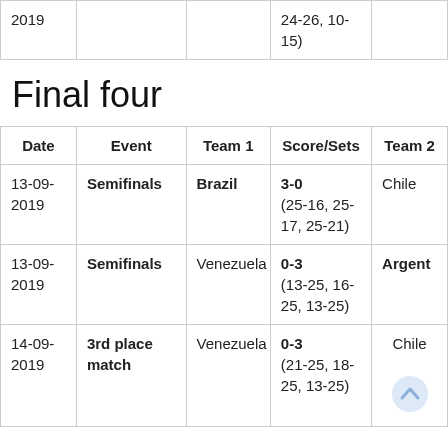| 2019 |  |  | 24-26, 10-15) |  |
Final four
| Date | Event | Team 1 | Score/Sets | Team 2 |
| --- | --- | --- | --- | --- |
| 13-09-2019 | Semifinals | Brazil | 3-0 (25-16, 25-17, 25-21) | Chile |
| 13-09-2019 | Semifinals | Venezuela | 0-3 (13-25, 16-25, 13-25) | Argentina |
| 14-09-2019 | 3rd place match | Venezuela | 0-3 (21-25, 18-25, 13-25) | Chile |